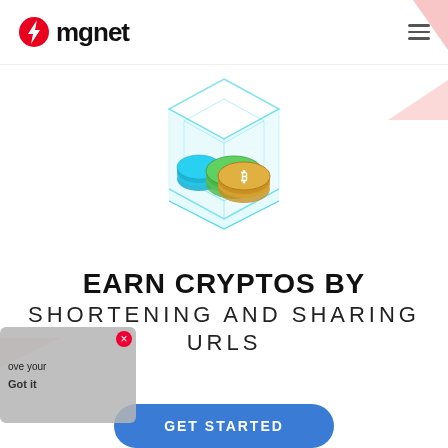mgnet
[Figure (illustration): Isometric 3D illustration of a transparent cube/container with cryptocurrency coins (Bitcoin, Ethereum) inside, rendered in cyan/teal and green/gold colors]
EARN CRYPTOS BY SHORTENING AND SHARING URLS
GET STARTED